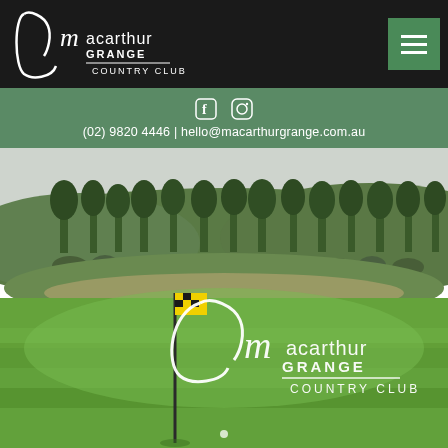Macarthur Grange Country Club — navigation header with logo and hamburger menu
(02) 9820 4446 | hello@macarthurgrange.com.au
[Figure (photo): Golf course photo showing green fairway with yellow flag pin, rolling hills with trees in background, and Macarthur Grange Country Club logo overlaid in white cursive text in the center of the image. A carousel dot indicator is visible at the bottom.]